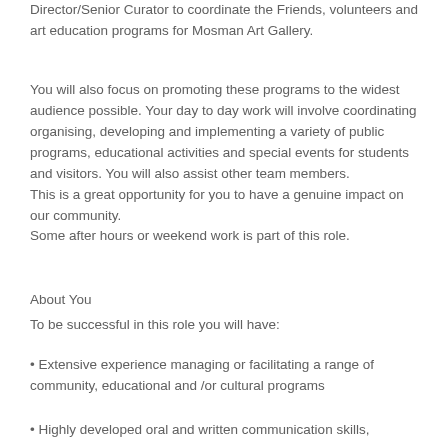In this role you will work under the direction of the Assistant Director/Senior Curator to coordinate the Friends, volunteers and art education programs for Mosman Art Gallery.
You will also focus on promoting these programs to the widest audience possible. Your day to day work will involve coordinating organising, developing and implementing a variety of public programs, educational activities and special events for students and visitors. You will also assist other team members.
This is a great opportunity for you to have a genuine impact on our community.
Some after hours or weekend work is part of this role.
About You
To be successful in this role you will have:
• Extensive experience managing or facilitating a range of community, educational and /or cultural programs
• Highly developed oral and written communication skills,